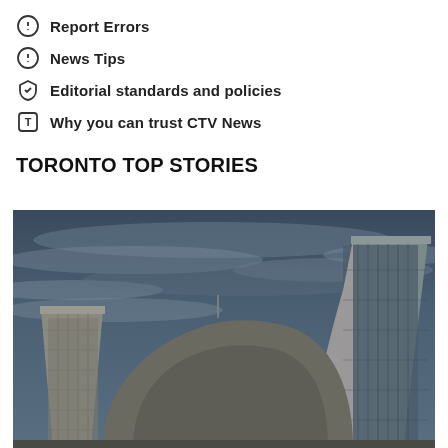Report Errors
News Tips
Editorial standards and policies
Why you can trust CTV News
TORONTO TOP STORIES
[Figure (photo): Low-angle photo of Toronto City Hall curved towers against a dramatic cloudy grey sky]